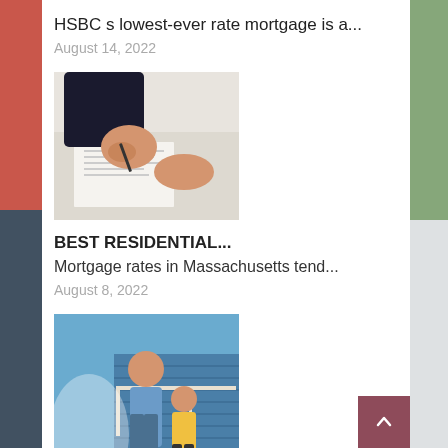HSBC s lowest-ever rate mortgage is a...
August 14, 2022
[Figure (photo): Person signing documents at a desk with papers and a calculator visible]
BEST RESIDENTIAL...
Mortgage rates in Massachusetts tend...
August 8, 2022
[Figure (photo): Father and daughter standing outside in front of a home with blue siding]
INFORMATION ABOUT...
The state of has a rich military history...